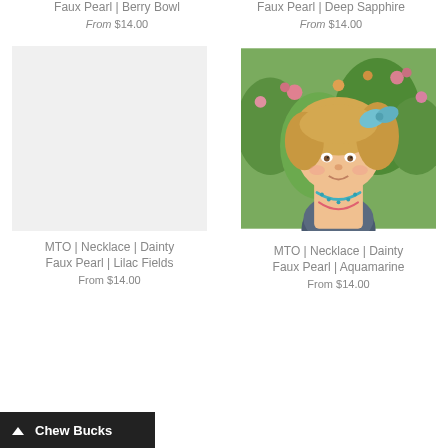Faux Pearl | Berry Bowl
From $14.00
Faux Pearl | Deep Sapphire
From $14.00
[Figure (photo): Light gray placeholder image for MTO Necklace Dainty Faux Pearl Lilac Fields product]
MTO | Necklace | Dainty Faux Pearl | Lilac Fields
From $14.00
[Figure (photo): Photo of a young girl with curly blonde hair wearing a blue hair bow and a teal beaded necklace, standing in front of flowers]
MTO | Necklace | Dainty Faux Pearl | Aquamarine
From $14.00
Chew Bucks